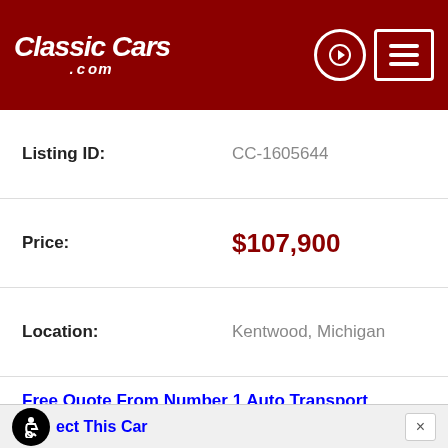ClassicCars.com
| Field | Value |
| --- | --- |
| Listing ID: | CC-1605644 |
| Price: | $107,900 |
| Location: | Kentwood, Michigan |
| Free Quote From Number 1 Auto Transport |  |
| Year: | 1969 |
Inspect This Car